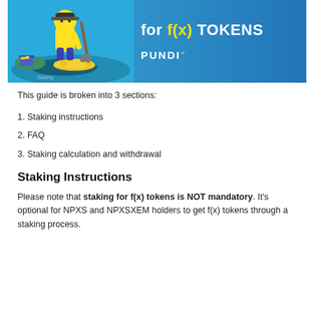[Figure (illustration): Banner image with a cartoon character mining/digging surrounded by gold coins on a blue gradient background, with text 'for f(x) TOKENS' and 'PUNDI' logo on the right side.]
This guide is broken into 3 sections:
1. Staking instructions
2. FAQ
3. Staking calculation and withdrawal
Staking Instructions
Please note that staking for f(x) tokens is NOT mandatory. It's optional for NPXS and NPXSXEM holders to get f(x) tokens through a staking process.